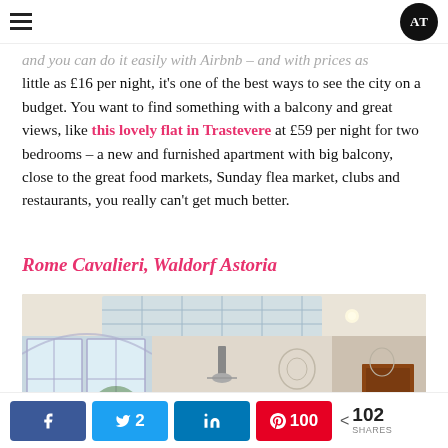AT (logo)
and you can do it easily with Airbnb – and with prices as little as £16 per night, it's one of the best ways to see the city on a budget. You want to find something with a balcony and great views, like this lovely flat in Trastevere at £59 per night for two bedrooms – a new and furnished apartment with big balcony, close to the great food markets, Sunday flea market, clubs and restaurants, you really can't get much better.
Rome Cavalieri, Waldorf Astoria
[Figure (photo): Interior of Rome Cavalieri Waldorf Astoria hotel lobby showing high ceiling with skylight panels, ornate white walls with classical relief decorations, a chandelier, and arched glass windows letting in natural light]
Share buttons: Facebook, Twitter 2, LinkedIn, Pinterest 100, Total 102 SHARES